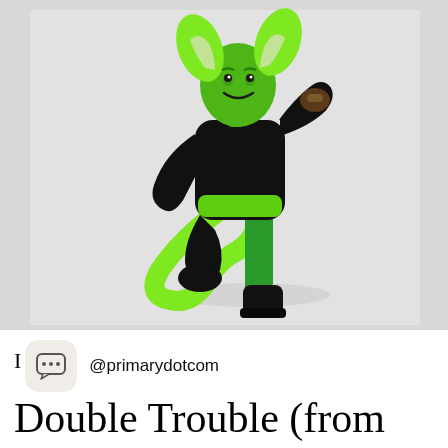[Figure (photo): A child dressed as Double Trouble from She-Ra, wearing a black outfit with green leggings, green face paint, large green ears/horns on head, and a long lime-green tail. The child is posed dynamically against a white background.]
I  @primarydotcom
Double Trouble (from